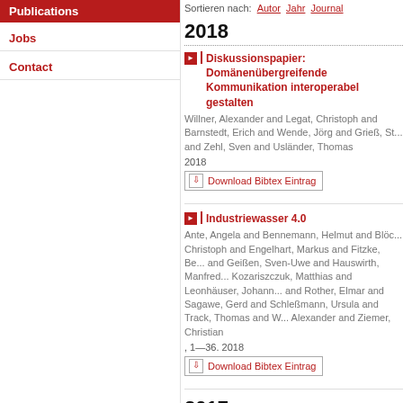Publications
Jobs
Contact
Sortieren nach: Autor  Jahr  Journal
2018
Diskussionspapier: Domänenübergreifende Kommunikation interoperabel gestalten
Willner, Alexander and Legat, Christoph and Barnstedt, Erich and Wende, Jörg and Grieß, St... and Zehl, Sven and Usländer, Thomas
2018
Download Bibtex Eintrag
Industriewasser 4.0
Ante, Angela and Bennemann, Helmut and Blöc... Christoph and Engelhart, Markus and Fitzke, Be... and Geißen, Sven-Uwe and Hauswirth, Manfred... Kozariszczuk, Matthias and Leonhäuser, Johann... and Rother, Elmar and Sagawe, Gerd and Schleßmann, Ursula and Track, Thomas and W... Alexander and Ziemer, Christian
, 1—36. 2018
Download Bibtex Eintrag
2017